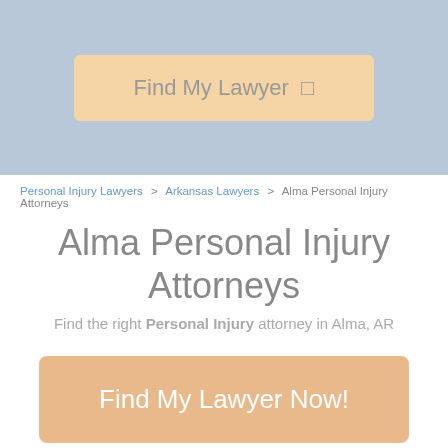[Figure (other): Header bar with light blue background containing a 'Find My Lawyer' button in light orange/peach color with a small square icon]
Personal Injury Lawyers  >  Arkansas Lawyers  >  Alma Personal Injury Attorneys
Alma Personal Injury Attorneys
Find the right Personal Injury attorney in Alma, AR
[Figure (other): Large peach/orange button labeled 'Find My Lawyer Now!']
Are You an Attorney? Grow Your Practice
What Constitutes a PI Case in Alma, AR?